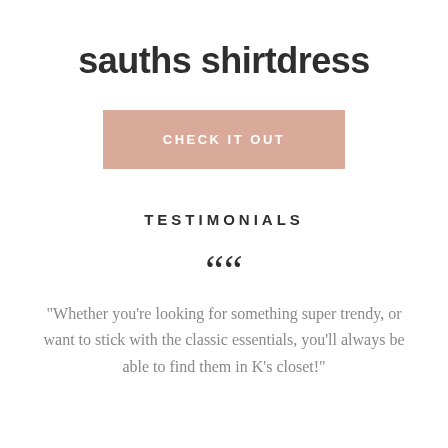sauths shirtdress
CHECK IT OUT
TESTIMONIALS
““
"Whether you're looking for something super trendy, or want to stick with the classic essentials, you'll always be able to find them in K's closet!"